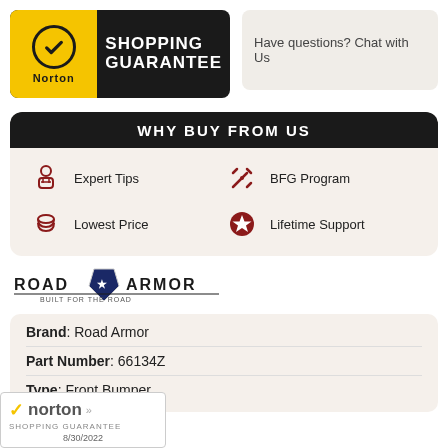[Figure (logo): Norton Shopping Guarantee badge with yellow and black design, checkmark in circle, 'Norton' brand text]
Have questions? Chat with Us
WHY BUY FROM US
Expert Tips
BFG Program
Lowest Price
Lifetime Support
[Figure (logo): Road Armor brand logo with shield emblem]
Brand: Road Armor
Part Number: 66134Z
Type: Front Bumper
[Figure (logo): Norton Shopping Guarantee overlay badge with checkmark, date 8/30/2022]